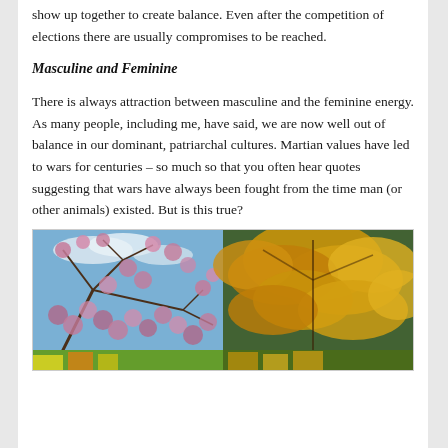show up together to create balance. Even after the competition of elections there are usually compromises to be reached.
Masculine and Feminine
There is always attraction between masculine and the feminine energy. As many people, including me, have said, we are now well out of balance in our dominant, patriarchal cultures. Martian values have led to wars for centuries – so much so that you often hear quotes suggesting that wars have always been fought from the time man (or other animals) existed. But is this true?
[Figure (photo): Two side-by-side nature photos: left shows pink blossoms against a blue sky with clouds; right shows golden/yellow autumn oak leaves against a green background. A strip of additional imagery appears at the bottom.]